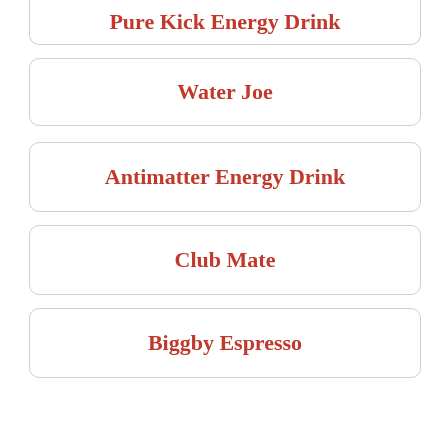Pure Kick Energy Drink
Water Joe
Antimatter Energy Drink
Club Mate
Biggby Espresso